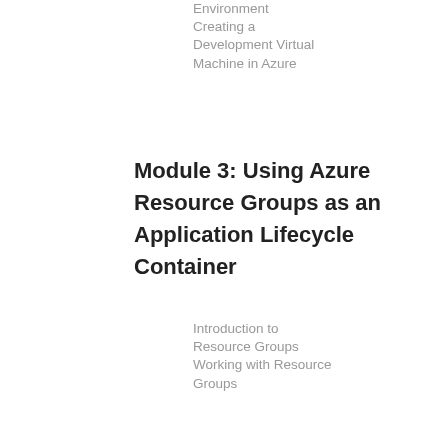Environment Creating a Development Virtual Machine in Azure
Module 3: Using Azure Resource Groups as an Application Lifecycle Container
Introduction to Resource Groups Working with Resource Groups